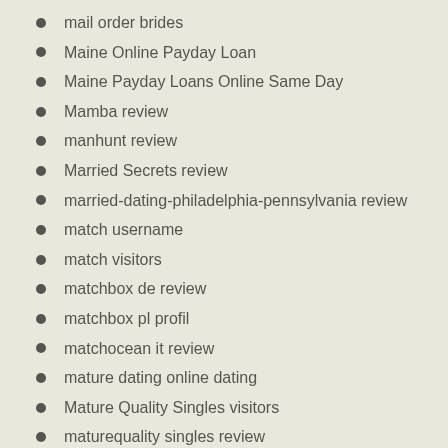mail order brides
Maine Online Payday Loan
Maine Payday Loans Online Same Day
Mamba review
manhunt review
Married Secrets review
married-dating-philadelphia-pennsylvania review
match username
match visitors
matchbox de review
matchbox pl profil
matchocean it review
mature dating online dating
Mature Quality Singles visitors
maturequality singles review